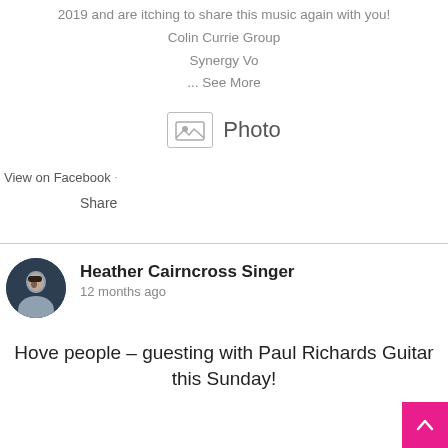2019 and are itching to share this music again with you!
Colin Currie Group
Synergy Vo
... See More
[Figure (other): Photo icon placeholder with image icon and label 'Photo']
View on Facebook ·
Share
Heather Cairncross Singer
12 months ago
Hove people – guesting with Paul Richards Guitar this Sunday!